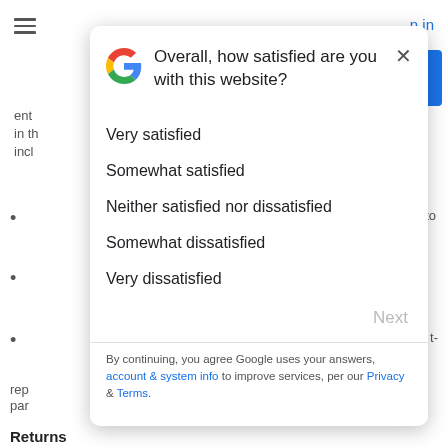[Figure (screenshot): Google website satisfaction survey modal dialog overlaid on a webpage. The modal has the Google G logo, a question asking 'Overall, how satisfied are you with this website?', five satisfaction options (Very satisfied, Somewhat satisfied, Neither satisfied nor dissatisfied, Somewhat dissatisfied, Very dissatisfied), a Next button, a divider, and a footer with privacy links. Background shows partially visible webpage content.]
Overall, how satisfied are you with this website?
Very satisfied
Somewhat satisfied
Neither satisfied nor dissatisfied
Somewhat dissatisfied
Very dissatisfied
Next
By continuing, you agree Google uses your answers, account & system info to improve services, per our Privacy & Terms.